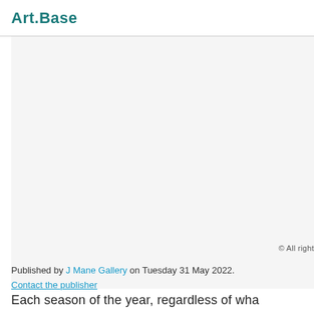Art.Base
[Figure (photo): Large image area, mostly white/light gray, appears to be a cropped artwork or gallery image]
© All right
Published by J Mane Gallery on Tuesday 31 May 2022. Contact the publisher
Each season of the year, regardless of wha